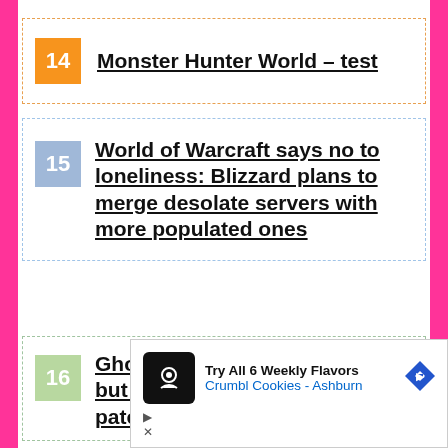14 Monster Hunter World – test
15 World of Warcraft says no to loneliness: Blizzard plans to merge desolate servers with more populated ones
16 Ghost of Tsushima is coming but the size of the day one patch would have increased
[Figure (other): Advertisement: Try All 6 Weekly Flavors - Crumbl Cookies - Ashburn]